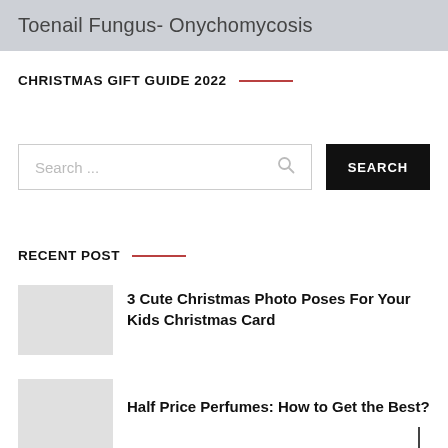Toenail Fungus- Onychomycosis
CHRISTMAS GIFT GUIDE 2022
Search ...
RECENT POST
3 Cute Christmas Photo Poses For Your Kids Christmas Card
Half Price Perfumes: How to Get the Best?